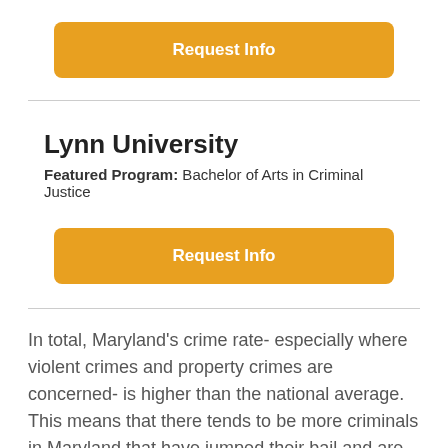[Figure (other): Orange rounded button labeled 'Request Info']
Lynn University
Featured Program: Bachelor of Arts in Criminal Justice
[Figure (other): Orange rounded button labeled 'Request Info']
In total, Maryland's crime rate- especially where violent crimes and property crimes are concerned- is higher than the national average. This means that there tends to be more criminals in Maryland that have jumped their bail and are fugitives from the law. It is the responsibility of bail bondsmen and bounty hunters in